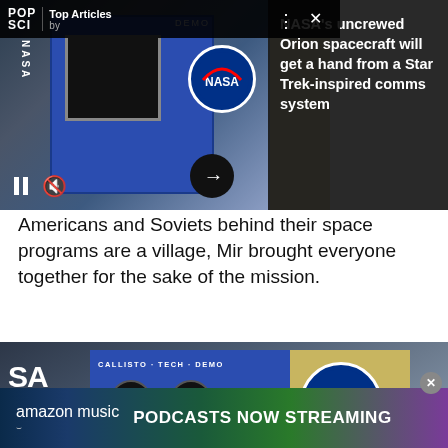[Figure (screenshot): NASA Callisto tech demo device video player with POP SCI Top Articles overlay banner at top, pause and mute controls at bottom left, arrow navigation button at bottom right]
NASA's uncrewed Orion spacecraft will get a hand from a Star Trek-inspired comms system
Americans and Soviets behind their space programs are a village, Mir brought everyone together for the sake of the mission.
[Figure (photo): Close-up photograph of NASA Callisto Tech Demo device mounted in spacecraft interior, showing blue panel with circular speakers, gold metallic side panel with NASA logo, and SA text visible]
PODCASTS NOW STREAMING
amazon music